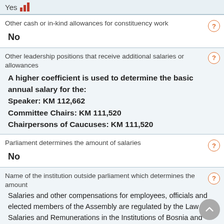Yes [bar icon]
Other cash or in-kind allowances for constituency work
No
Other leadership positions that receive additional salaries or allowances
A higher coefficient is used to determine the basic annual salary for the:
Speaker: KM 112,662
Committee Chairs: KM 111,520
Chairpersons of Caucuses: KM 111,520
Parliament determines the amount of salaries
No
Name of the institution outside parliament which determines the amount
Salaries and other compensations for employees, officials and elected members of the Assembly are regulated by the Law on Salaries and Remunerations in the Institutions of Bosnia and Herzegovina. A sub-